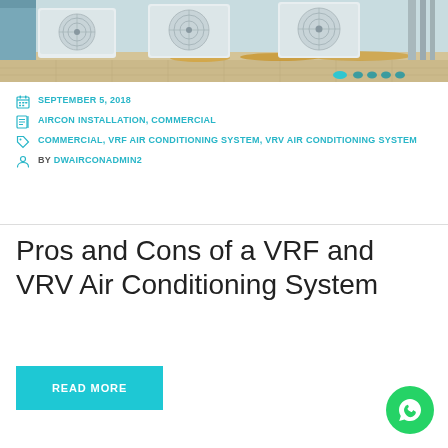[Figure (photo): Rooftop air conditioning outdoor units (VRF/VRV condensers) mounted on a building roof with autumn leaves on paving]
SEPTEMBER 5, 2018
AIRCON INSTALLATION, COMMERCIAL
COMMERCIAL, VRF AIR CONDITIONING SYSTEM, VRV AIR CONDITIONING SYSTEM
BY DWAIRCONADMIN2
Pros and Cons of a VRF and VRV Air Conditioning System
READ MORE